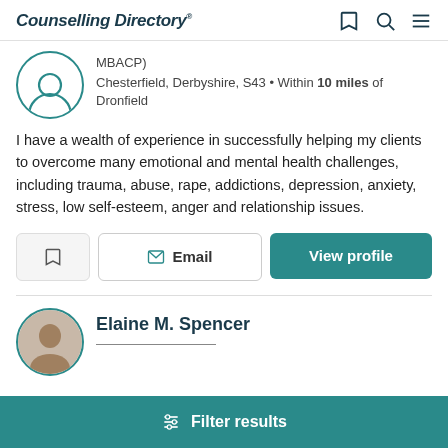Counselling Directory
MBACP)
Chesterfield, Derbyshire, S43 • Within 10 miles of Dronfield
I have a wealth of experience in successfully helping my clients to overcome many emotional and mental health challenges, including trauma, abuse, rape, addictions, depression, anxiety, stress, low self-esteem, anger and relationship issues.
Email
View profile
Elaine M. Spencer
Filter results